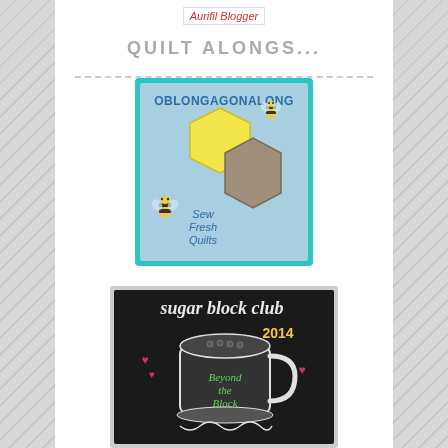Aurifil Blogger
QUILT ALONGS...
[Figure (illustration): Oblongagonalong badge with two hexagons (yellow and taupe) and bees, text: OBLONGAGONALONG, Sew Fresh Quilts, light blue background with teal border]
[Figure (illustration): Sugar Block Club 2014 badge - black chalkboard style with coffee cup, hearts, text: sugar block club 2014, Beyond the Block]